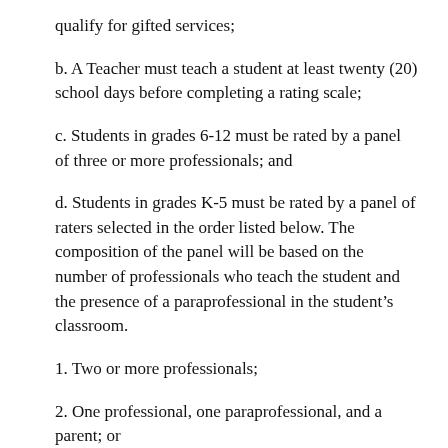qualify for gifted services;
b. A Teacher must teach a student at least twenty (20) school days before completing a rating scale;
c. Students in grades 6-12 must be rated by a panel of three or more professionals; and
d. Students in grades K-5 must be rated by a panel of raters selected in the order listed below. The composition of the panel will be based on the number of professionals who teach the student and the presence of a paraprofessional in the student’s classroom.
1. Two or more professionals;
2. One professional, one paraprofessional, and a parent; or